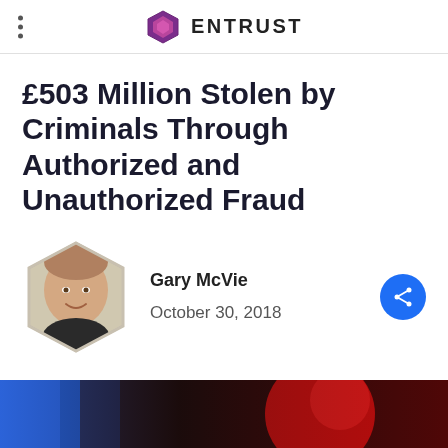ENTRUST
£503 Million Stolen by Criminals Through Authorized and Unauthorized Fraud
Gary McVie
October 30, 2018
[Figure (photo): Bottom banner image with blue and red colors, partially visible]